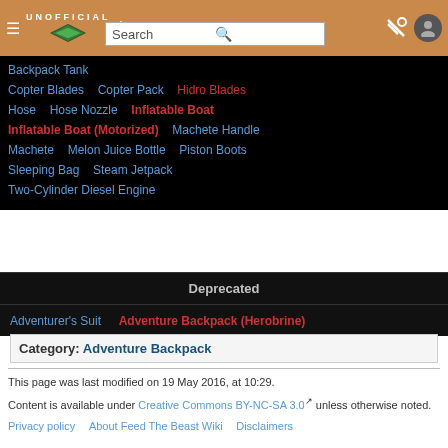UNOFFICIAL wiki header with search bar
Backpack Tank
Copter Blades
Copter Pack
Hidro Blades
Hose
Hose Nozzle
Inflatable Boat
Inflatable Boat (Motorized)
Machete Handle
Machete
Melon Juice Bottle
Piston Boots
Sleeping Bag
Steam Jetpack
Two-Cylinder Diesel Engine
Deprecated
Adventurer's Suit
Adventure Backpack (Herobrine)
Category:  Adventure Backpack
This page was last modified on 19 May 2016, at 10:29.
Content is available under Creative Commons BY-NC-SA 3.0 unless otherwise noted.
Privacy policy   About Feed The Beast Wiki   Disclaimers